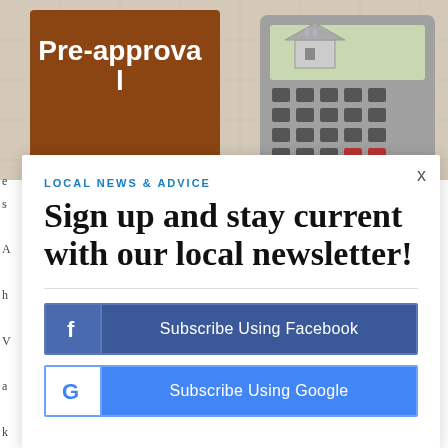[Figure (photo): Photo showing a brown sign with 'Pre-approval' text in white, a miniature house model, and a calculator on a tile background]
X
LOCAL NEWS & ADVICE
Sign up and stay current with our local newsletter!
Subscribe Using Facebook
Subscribe Using Google